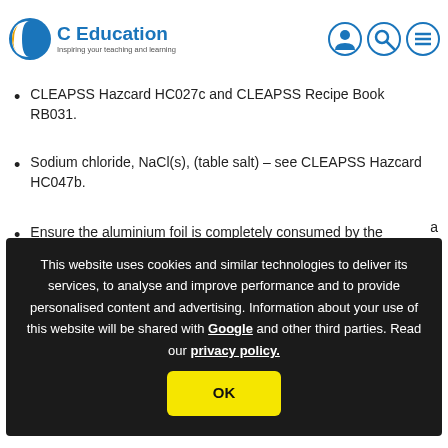C Education — Inspiring your teaching and learning
CLEAPSS Hazcard HC027c and CLEAPSS Recipe Book RB031.
Sodium chloride, NaCl(s), (table salt) – see CLEAPSS Hazcard HC047b.
Ensure the aluminium foil is completely consumed by the
P
This website uses cookies and similar technologies to deliver its services, to analyse and improve performance and to provide personalised content and advertising. Information about your use of this website will be shared with Google and other third parties. Read our privacy policy.
OK